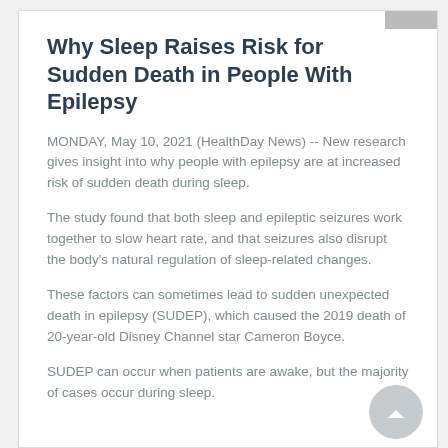Why Sleep Raises Risk for Sudden Death in People With Epilepsy
MONDAY, May 10, 2021 (HealthDay News) -- New research gives insight into why people with epilepsy are at increased risk of sudden death during sleep.
The study found that both sleep and epileptic seizures work together to slow heart rate, and that seizures also disrupt the body's natural regulation of sleep-related changes.
These factors can sometimes lead to sudden unexpected death in epilepsy (SUDEP), which caused the 2019 death of 20-year-old Disney Channel star Cameron Boyce.
SUDEP can occur when patients are awake, but the majority of cases occur during sleep.